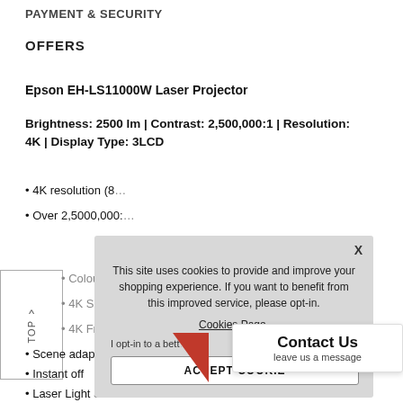PAYMENT & SECURITY
OFFERS
Epson EH-LS11000W Laser Projector
Brightness: 2500 lm | Contrast: 2,500,000:1 | Resolution: 4K | Display Type: 3LCD
4K resolution (8...
Over 2,5000,000:...
Colour space D(...
4K Super resolu...
4K Frame interp...
Scene adaptive
Instant off
Laser Light Source
[Figure (screenshot): Cookie consent overlay with text: This site uses cookies to provide and improve your shopping experience. If you want to benefit from this improved service, please opt-in. Cookies Page. I opt-in to a better... ACCEPT COOKIE button.]
[Figure (infographic): Contact Us widget - leave us a message, with red triangle accent]